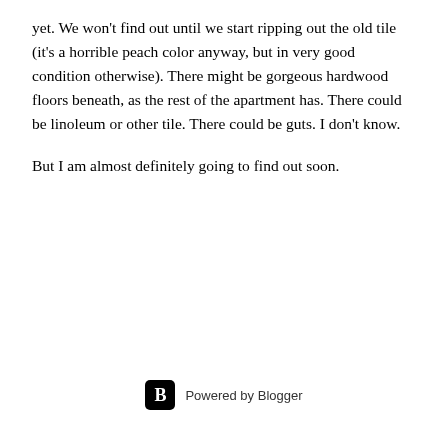yet. We won't find out until we start ripping out the old tile (it's a horrible peach color anyway, but in very good condition otherwise). There might be gorgeous hardwood floors beneath, as the rest of the apartment has. There could be linoleum or other tile. There could be guts. I don't know.
But I am almost definitely going to find out soon.
Powered by Blogger